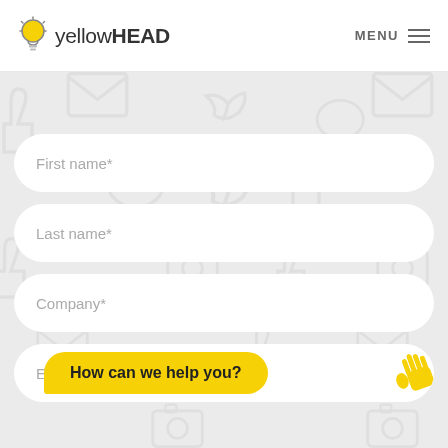[Figure (logo): yellowHEAD logo with lightbulb icon]
MENU
[Figure (screenshot): Contact form with social media icon background pattern (thumbs up, Twitter bird, chat bubble, email). Fields: First name*, Last name*, Company*, Email (partial). Chat bubble overlay: How can we help you?]